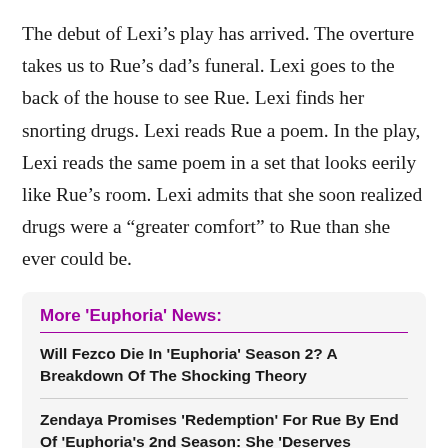The debut of Lexi's play has arrived. The overture takes us to Rue's dad's funeral. Lexi goes to the back of the house to see Rue. Lexi finds her snorting drugs. Lexi reads Rue a poem. In the play, Lexi reads the same poem in a set that looks eerily like Rue's room. Lexi admits that she soon realized drugs were a "greater comfort" to Rue than she ever could be.
More 'Euphoria' News:
Will Fezco Die In 'Euphoria' Season 2? A Breakdown Of The Shocking Theory
Zendaya Promises 'Redemption' For Rue By End Of 'Euphoria's 2nd Season: She 'Deserves